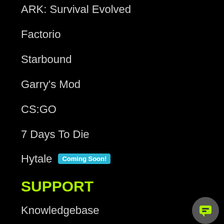ARK: Survival Evolved
Factorio
Starbound
Garry's Mod
CS:GO
7 Days To Die
Hytale [Coming Soon!]
SUPPORT
Knowledgebase
Submit Ticket
Contact Us
COMPANY
Our Team